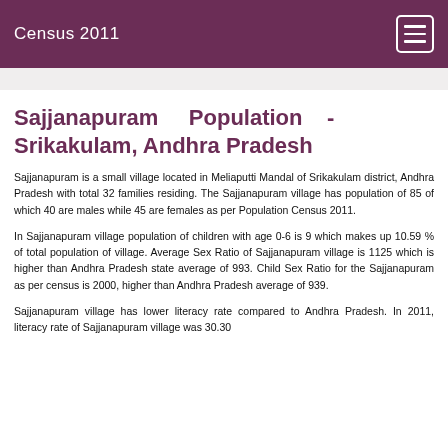Census 2011
Sajjanapuram Population - Srikakulam, Andhra Pradesh
Sajjanapuram is a small village located in Meliaputti Mandal of Srikakulam district, Andhra Pradesh with total 32 families residing. The Sajjanapuram village has population of 85 of which 40 are males while 45 are females as per Population Census 2011.
In Sajjanapuram village population of children with age 0-6 is 9 which makes up 10.59 % of total population of village. Average Sex Ratio of Sajjanapuram village is 1125 which is higher than Andhra Pradesh state average of 993. Child Sex Ratio for the Sajjanapuram as per census is 2000, higher than Andhra Pradesh average of 939.
Sajjanapuram village has lower literacy rate compared to Andhra Pradesh. In 2011, literacy rate of Sajjanapuram village was 30.30...